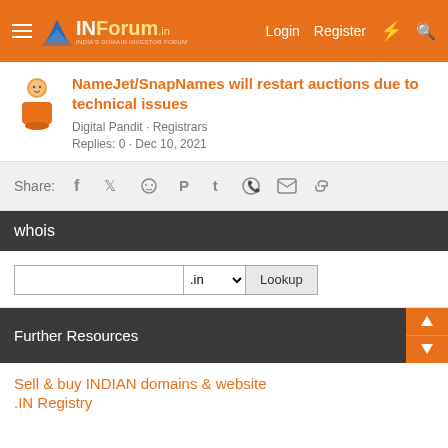INForum — Login  Register
NameJet/SnapNames will restart auctions due to technical issues
Digital Pandit · Registrars
Replies: 0 · Dec 10, 2021
Share: [social icons: Facebook, Twitter, Reddit, Pinterest, Tumblr, WhatsApp, Email, Link]
whois
Domain lookup form: text input, .in dropdown, Lookup button
Further Resources
Sell & buy INDIAN domains & website
.IN Registry